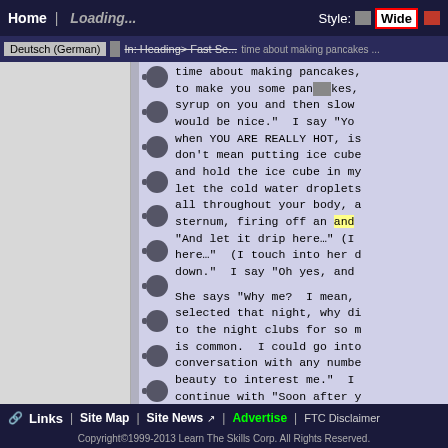Home | Loading... Style: Wide
Deutsch (German) | In: Heading > Fast Seduction...
time about making pancakes, to make you some pancakes, syrup on you and then slow would be nice." I say "You when YOU ARE REALLY HOT, is don't mean putting ice cube and hold the ice cube in my let the cold water droplets all throughout your body, a sternum, firing off an and "And let it drip here..." (I here..." (I touch into her d down." I say "Oh yes, and She says "Why me? I mean, selected that night, why di to the night clubs for so m is common. I could go into conversation with any number beauty to interest me." I continue with "Soon after y you might posses those qual says "HOW?" I say "Because us. I felt it right here. right here." And she point the sun. It is warm and fu She then asks me "What is y question." She says "Like wear?" I say "I like blac "What is your favorite colo
Links | Site Map | Site News | Advertise | FTC Disclaimer
Copyright©1999-2013 Learn The Skills Corp. All Rights Reserved.